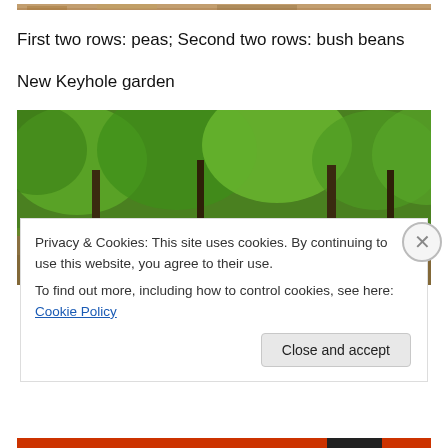[Figure (photo): Cropped top portion of a garden photo showing soil and ground cover]
First two rows: peas; Second two rows: bush beans
New Keyhole garden
[Figure (photo): Photo of a wooded area with dense green trees and rocks/stones on the ground forming a garden border]
Privacy & Cookies: This site uses cookies. By continuing to use this website, you agree to their use.
To find out more, including how to control cookies, see here: Cookie Policy
[Figure (screenshot): Close and accept button for cookie consent overlay]